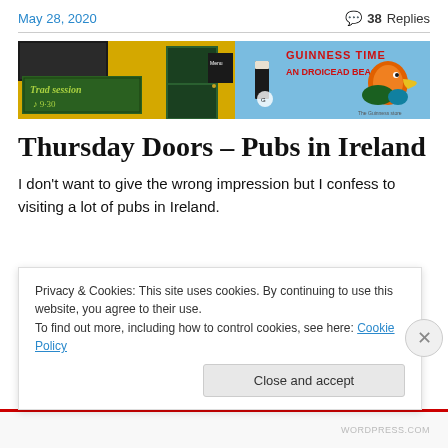May 28, 2020 | 38 Replies
[Figure (photo): Colorful pub exterior with yellow walls showing 'Trad Session 9:30' sign and a Guinness Time billboard featuring a toucan, at An Droicead Beag]
Thursday Doors – Pubs in Ireland
I don't want to give the wrong impression but I confess to visiting a lot of pubs in Ireland.
Privacy & Cookies: This site uses cookies. By continuing to use this website, you agree to their use.
To find out more, including how to control cookies, see here: Cookie Policy
Close and accept